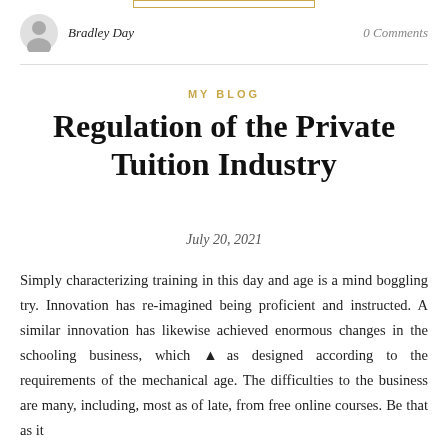Bradley Day    0 Comments
MY BLOG
Regulation of the Private Tuition Industry
July 20, 2021
Simply characterizing training in this day and age is a mind boggling try. Innovation has re-imagined being proficient and instructed. A similar innovation has likewise achieved enormous changes in the schooling business, which was designed according to the requirements of the mechanical age. The difficulties to the business are many, including, most as of late, from free online courses. Be that as it